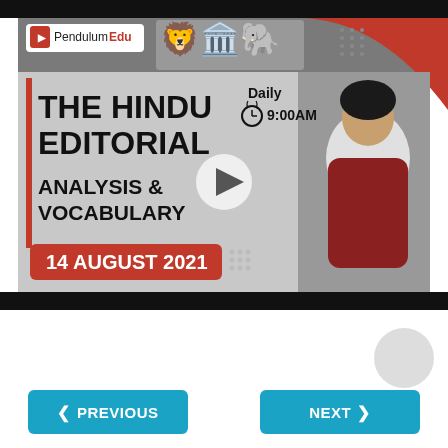[Figure (screenshot): PendulumEdu video thumbnail for The Hindu Editorial Analysis & Vocabulary, 14 August 2021, Daily 9:00AM, featuring a woman in maroon sweater with arms crossed]
PREVIOUS
NEXT